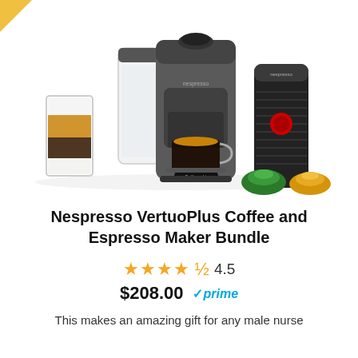[Figure (photo): Nespresso VertuoPlus coffee and espresso maker bundle product photo showing the machine in graphite/dark gray, a water tank, a latte glass, an Aeroccino milk frother, and two coffee capsules (green and gold/orange), all on white background.]
Nespresso VertuoPlus Coffee and Espresso Maker Bundle
★★★★½ 4.5
$208.00 ✓prime
This makes an amazing gift for any male nurse